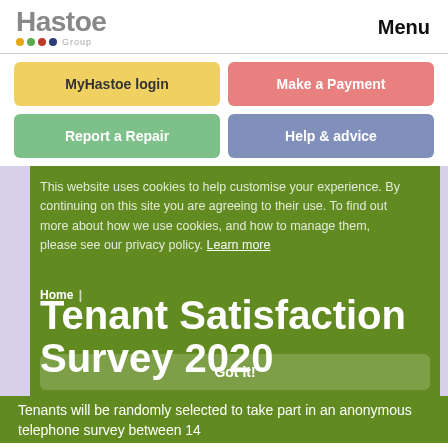[Figure (logo): Hastoe Group logo with colored dots and 'Group' text]
Menu
MyHastoe login
Make a Payment
Report a Repair
Help & advice
This website uses cookies to help customise your experience. By continuing on this site you are agreeing to their use. To find out more about how we use cookies, and how to manage them, please see our privacy policy. Learn more
Home |
Tenant Satisfaction Survey 2020
Got it!
Tenants will be randomly selected to take part in an anonymous telephone survey between 14